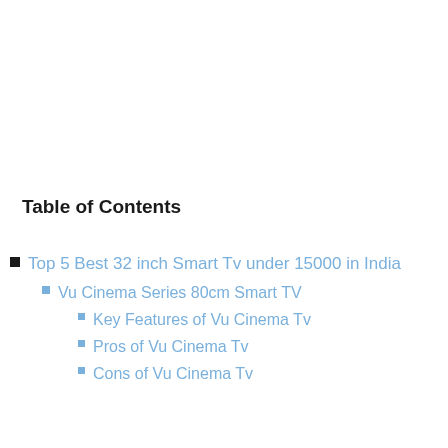Table of Contents
Top 5 Best 32 inch Smart Tv under 15000 in India
Vu Cinema Series 80cm Smart TV
Key Features of Vu Cinema Tv
Pros of Vu Cinema Tv
Cons of Vu Cinema Tv